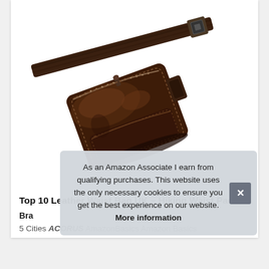[Figure (photo): A dark brown leather waist/fanny pack bag with adjustable strap, shown at an angle on white background]
Top 10 Leather Waist Bag UK – Hiking Waist Packs
Bra
5 Cities ACORUS AmazonBasics Amazon Basics
As an Amazon Associate I earn from qualifying purchases. This website uses the only necessary cookies to ensure you get the best experience on our website. More information